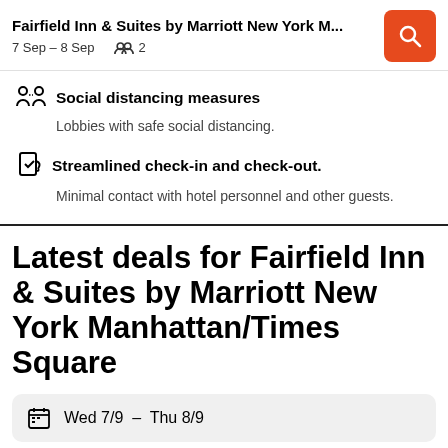Fairfield Inn & Suites by Marriott New York M...  7 Sep – 8 Sep  2
Social distancing measures
Lobbies with safe social distancing.
Streamlined check-in and check-out.
Minimal contact with hotel personnel and other guests.
Latest deals for Fairfield Inn & Suites by Marriott New York Manhattan/Times Square
Wed 7/9 – Thu 8/9